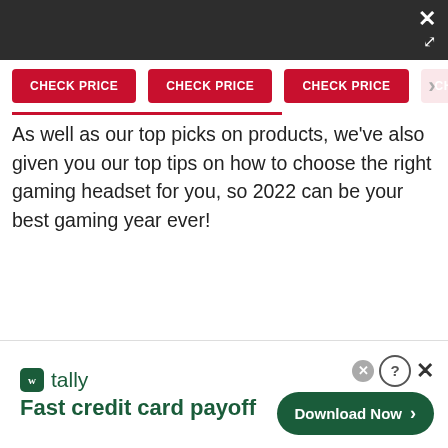[Figure (screenshot): Top dark navigation bar with close/resize icons (X and diagonal arrows) in upper right corner]
[Figure (screenshot): Row of red CHECK PRICE buttons with a right-arrow navigation indicator, partially cropped on right side]
As well as our top picks on products, we've also given you our top tips on how to choose the right gaming headset for you, so 2022 can be your best gaming year ever!
[Figure (screenshot): Advertisement banner for Tally app: 'Fast credit card payoff' with a Download Now button and close icons]